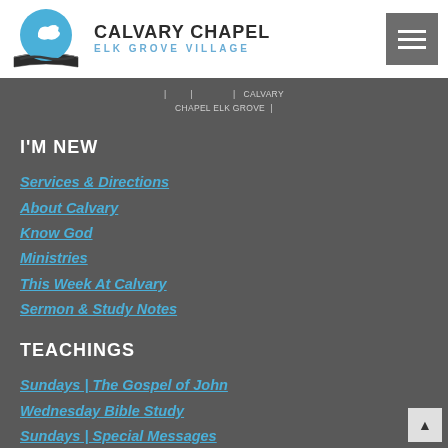[Figure (logo): Calvary Chapel Elk Grove Village logo with circular emblem showing a dove and open Bible, alongside bold text 'CALVARY CHAPEL' and subtitle 'ELK GROVE VILLAGE']
| ... | ... | CALVARY CHAPEL ELK GROVE |
I'M NEW
Services & Directions
About Calvary
Know God
Ministries
This Week At Calvary
Sermon & Study Notes
TEACHINGS
Sundays | The Gospel of John
Wednesday Bible Study
Sundays | Special Messages